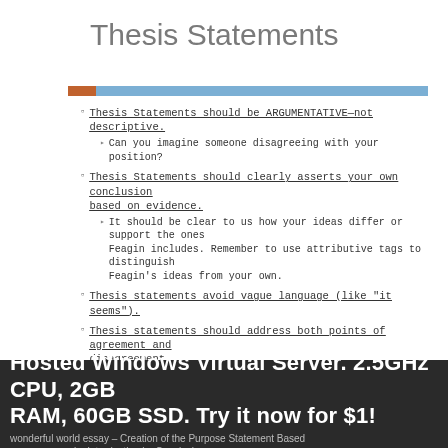Thesis Statements
Thesis Statements should be ARGUMENTATIVE—not descriptive.
Can you imagine someone disagreeing with your position?
Thesis Statements should clearly asserts your own conclusion based on evidence.
It should be clear to us how your ideas differ or support the ones Feagin includes.  Remember to use attributive tags to distinguish Feagin's ideas from your own.
Thesis statements avoid vague language (like "it seems").
Thesis statements should address both points of agreement and disagreement.
Hosted Windows Virtual Server. 2.5GHz CPU, 2GB RAM, 60GB SSD. Try it now for $1!